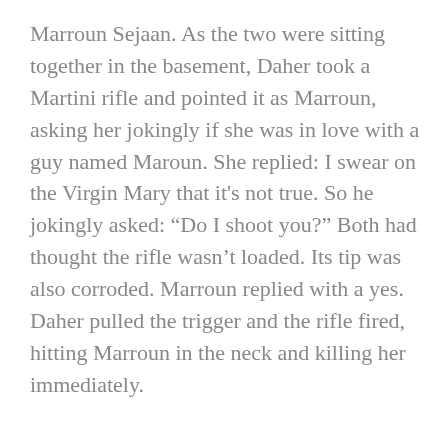Marroun Sejaan. As the two were sitting together in the basement, Daher took a Martini rifle and pointed it as Marroun, asking her jokingly if she was in love with a guy named Maroun. She replied: I swear on the Virgin Mary that it’s not true. So he jokingly asked: “Do I shoot you?” Both had thought the rifle wasn’t loaded. Its tip was also corroded. Marroun replied with a yes. Daher pulled the trigger and the rifle fired, hitting Marroun in the neck and killing her immediately.